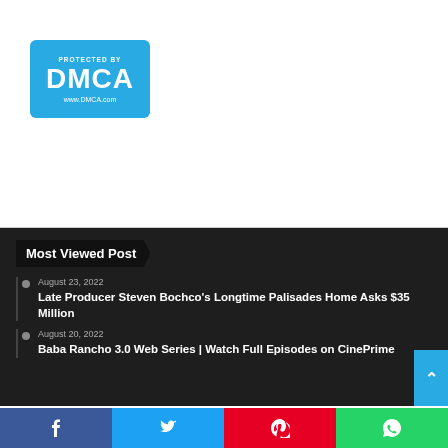[Figure (logo): DMCA Protected badge — blue rounded rectangle with text 'PROTECTED BY', 'DMCA', 'www.DMCA.com' in white on blue background]
Most Viewed Post
August 23, 2022
Late Producer Steven Bochco's Longtime Palisades Home Asks $35 Million
August 20, 2022
Baba Rancho 3.0 Web Series | Watch Full Episodes on CinePrime
[Figure (infographic): Social share bar with four buttons: Facebook (blue), Twitter (light blue), Pinterest (red), WhatsApp (green), each with respective icons]